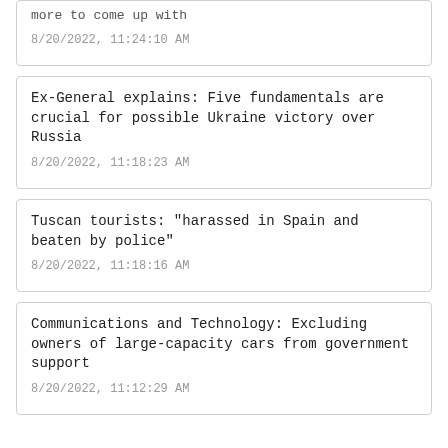more to come up with
8/20/2022, 11:24:10 AM
Ex-General explains: Five fundamentals are crucial for possible Ukraine victory over Russia
8/20/2022, 11:18:23 AM
Tuscan tourists: "harassed in Spain and beaten by police"
8/20/2022, 11:18:16 AM
Communications and Technology: Excluding owners of large-capacity cars from government support
8/20/2022, 11:12:29 AM